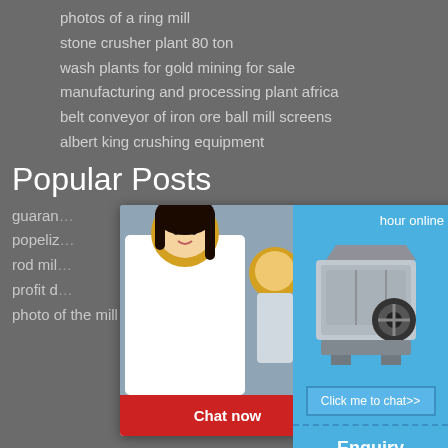photos of a ring mill
stone crusher plant 80 ton
wash plants for gold mining for sale
manufacturing and processing plant africa
belt conveyor of iron ore ball mill screens
albert king crushing equipment
Popular Posts
guaran…
popeliz…
rod mil…
profit d…
photo of the mill crusher in gold mi…
[Figure (screenshot): Live chat popup overlay with woman and workers in hard hats, LIVE CHAT heading in red, Click for a Free Consultation text, Chat now and Chat later buttons]
[Figure (screenshot): Right sidebar with blue background showing 'hour online', crusher machine image, Click me to chat>> button, Enquiry heading, limingjlmofen text]